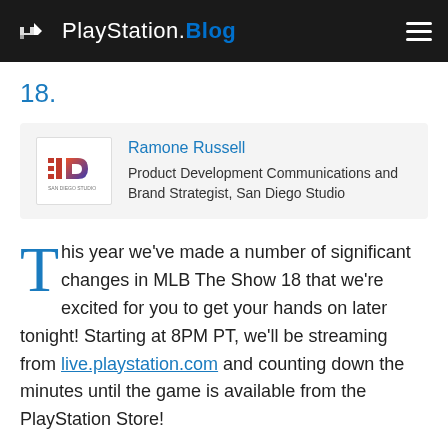PlayStation.Blog
18.
Ramone Russell
Product Development Communications and Brand Strategist, San Diego Studio
This year we've made a number of significant changes in MLB The Show 18 that we're excited for you to get your hands on later tonight! Starting at 8PM PT, we'll be streaming from live.playstation.com and counting down the minutes until the game is available from the PlayStation Store!